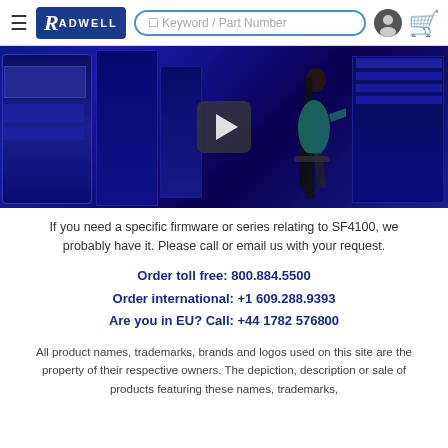Radwell — Keyword / Part Number search
[Figure (screenshot): Video thumbnail showing an industrial testing environment with blue lighting, machinery, and a woman working at a control panel. A play button overlay is shown in the center.]
If you need a specific firmware or series relating to SF4100, we probably have it. Please call or email us with your request.
Order toll free: 800.884.5500
Order international: +1 609.288.9393
Are you in EU? Call: +44 1782 576800
All product names, trademarks, brands and logos used on this site are the property of their respective owners. The depiction, description or sale of products featuring these names, trademarks,